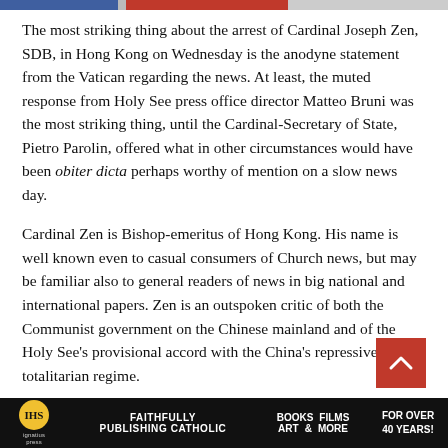The most striking thing about the arrest of Cardinal Joseph Zen, SDB, in Hong Kong on Wednesday is the anodyne statement from the Vatican regarding the news. At least, the muted response from Holy See press office director Matteo Bruni was the most striking thing, until the Cardinal-Secretary of State, Pietro Parolin, offered what in other circumstances would have been obiter dicta perhaps worthy of mention on a slow news day.
Cardinal Zen is Bishop-emeritus of Hong Kong. His name is well known even to casual consumers of Church news, but may be familiar also to general readers of news in big national and international papers. Zen is an outspoken critic of both the Communist government on the Chinese mainland and of the Holy See's provisional accord with the China's repressive totalitarian regime.
National security police took Cardinal Zen in for question...
Ignatius Press — FAITHFULLY PUBLISHING CATHOLIC — BOOKS FILMS ART & MORE — FOR OVER 40 YEARS!